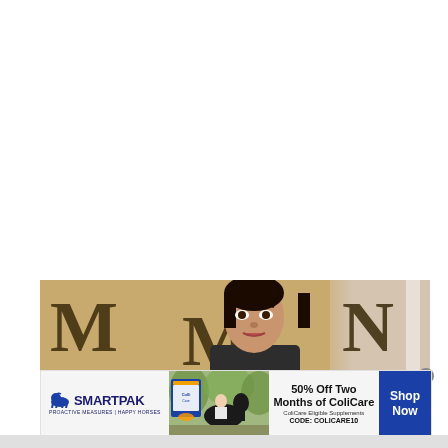[Figure (photo): Partial view of a woman's face in the foreground with large decorative letters 'MOAN' on a tan/gold background wall behind her, and a white pillar to the right]
[Figure (infographic): SmartPak advertisement banner: SmartPak logo with horse icon on left, product image and horse/rider photo in center-left, promotional text '50% Off Two Months of ColiCare, ColiCare Eligible Supplements, CODE: COLICARE10' in center, 'Shop Now' blue CTA button on right, with close X button]